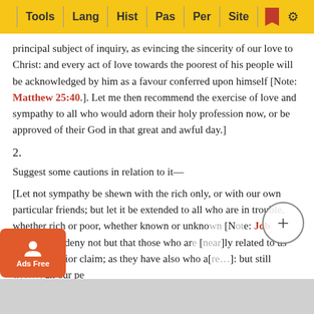Tools | Lang | Hist | Pas | Per | Site
principal subject of inquiry, as evincing the sincerity of our love to Christ: and every act of love towards the poorest of his people will be acknowledged by him as a favour conferred upon himself [Note: Matthew 25:40.]. Let me then recommend the exercise of love and sympathy to all who would adorn their holy profession now, or be approved of their God in that great and awful day.]
2.
Suggest some cautions in relation to it—
[Let not sympathy be shewn with the rich only, or with our own particular friends; but let it be extended to all who are in trouble, whether rich or poor, whether known or unkno[wn] [Note: Job 30:25.]. We deny not but that those who are [near]ly related to us have a superior claim; as they have also who a[re…]: but still w[e must extend our sympathy beyond] an our pe[ople]